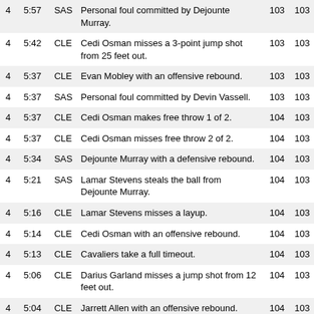| Q | Time | Team | Description | Score1 | Score2 |
| --- | --- | --- | --- | --- | --- |
| 4 | 5:57 | SAS | Personal foul committed by Dejounte Murray. | 103 | 103 |
| 4 | 5:42 | CLE | Cedi Osman misses a 3-point jump shot from 25 feet out. | 103 | 103 |
| 4 | 5:37 | CLE | Evan Mobley with an offensive rebound. | 103 | 103 |
| 4 | 5:37 | SAS | Personal foul committed by Devin Vassell. | 103 | 103 |
| 4 | 5:37 | CLE | Cedi Osman makes free throw 1 of 2. | 104 | 103 |
| 4 | 5:37 | CLE | Cedi Osman misses free throw 2 of 2. | 104 | 103 |
| 4 | 5:34 | SAS | Dejounte Murray with a defensive rebound. | 104 | 103 |
| 4 | 5:21 | SAS | Lamar Stevens steals the ball from Dejounte Murray. | 104 | 103 |
| 4 | 5:16 | CLE | Lamar Stevens misses a layup. | 104 | 103 |
| 4 | 5:14 | CLE | Cedi Osman with an offensive rebound. | 104 | 103 |
| 4 | 5:13 | CLE | Cavaliers take a full timeout. | 104 | 103 |
| 4 | 5:06 | CLE | Darius Garland misses a jump shot from 12 feet out. | 104 | 103 |
| 4 | 5:04 | CLE | Jarrett Allen with an offensive rebound. | 104 | 103 |